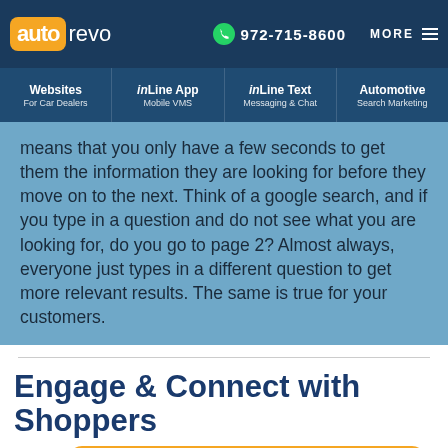autorevo | 972-715-8600 | MORE
Websites For Car Dealers | inLine App Mobile VMS | inLine Text Messaging & Chat | Automotive Search Marketing
means that you only have a few seconds to get them the information they are looking for before they move on to the next. Think of a google search, and if you type in a question and do not see what you are looking for, do you go to page 2? Almost always, everyone just types in a different question to get more relevant results. The same is true for your customers.
Engage & Connect with Shoppers
[Figure (screenshot): Chat widget showing 'inLine Text Is LIVE! Try it here and ask a question...' with an avatar photo, orange border card, and a blue left-arrow navigation button]